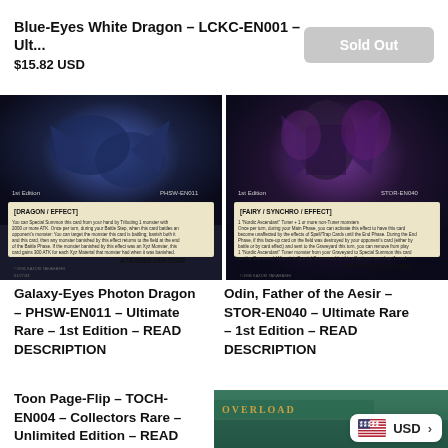Blue-Eyes White Dragon - LCKC-EN001 - Ult...
$15.82 USD
Sold Out
[Figure (photo): Yu-Gi-Oh trading card: Galaxy-Eyes Photon Dragon, Dragon/Effect type, ATK/3000 DEF/2500, 1st Edition, PHSW-EN011 Ultimate Rare]
[Figure (photo): Yu-Gi-Oh trading card: Odin, Father of the Aesir, Fairy/Synchro/Effect type, ATK/4000 DEF/3500, 1st Edition, STOR-EN040 Ultimate Rare]
Galaxy-Eyes Photon Dragon - PHSW-EN011 - Ultimate Rare - 1st Edition - READ DESCRIPTION
Odin, Father of the Aesir - STOR-EN040 - Ultimate Rare - 1st Edition - READ DESCRIPTION
Toon Page-Flip - TOCH-EN004 - Collectors Rare - Unlimited Edition - READ
[Figure (photo): Yu-Gi-Oh card partially visible with green background and 'OVERLOAD' text banner, with USD currency selector overlay]